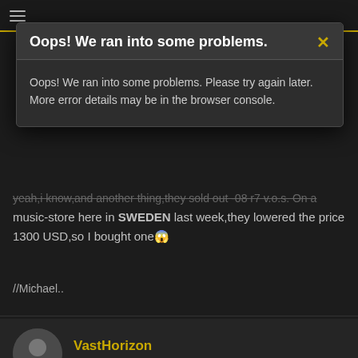[Figure (screenshot): Navigation bar at top of forum page, dark background with hamburger menu icon and gold/yellow bottom border]
Oops! We ran into some problems.
Oops! We ran into some problems. Please try again later. More error details may be in the browser console.
music-store here in SWEDEN last week,they lowered the price 1300 USD,so I bought one 😱
//Michael..
VastHorizon
Senior Member
Feb 22, 2009
#8
19mab68 said:
yeah,i know,and another thing,they sold out -08 r7 v.o.s. On a music-store here in sweden last week,they lowered the price 1300 usd,so i bought one 😱